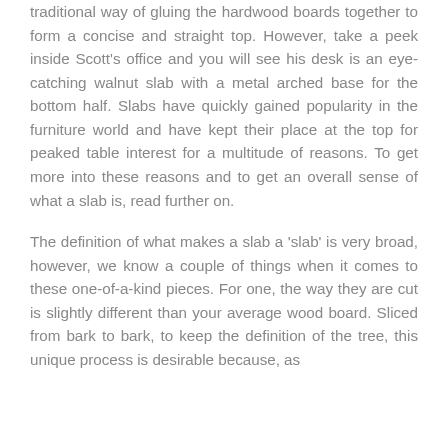traditional way of gluing the hardwood boards together to form a concise and straight top. However, take a peek inside Scott's office and you will see his desk is an eye-catching walnut slab with a metal arched base for the bottom half. Slabs have quickly gained popularity in the furniture world and have kept their place at the top for peaked table interest for a multitude of reasons. To get more into these reasons and to get an overall sense of what a slab is, read further on.
The definition of what makes a slab a 'slab' is very broad, however, we know a couple of things when it comes to these one-of-a-kind pieces. For one, the way they are cut is slightly different than your average wood board. Sliced from bark to bark, to keep the definition of the tree, this unique process is desirable because, as